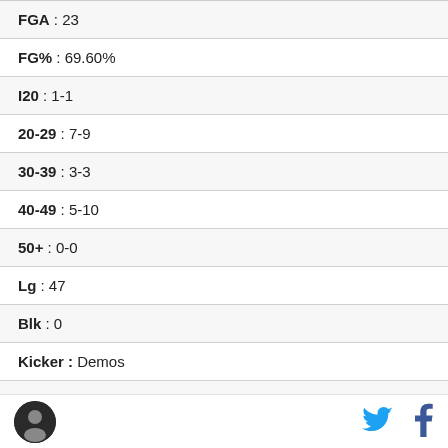| FGA | 23 |
| FG% | 69.60% |
| I20 | 1-1 |
| 20-29 | 7-9 |
| 30-39 | 3-3 |
| 40-49 | 5-10 |
| 50+ | 0-0 |
| Lg | 47 |
| Blk | 0 |
| Kicker | Demos |
| Year | 2009 |
[Figure (logo): Site logo circle icon in footer]
[Figure (logo): Twitter bird icon]
[Figure (logo): Facebook f icon]